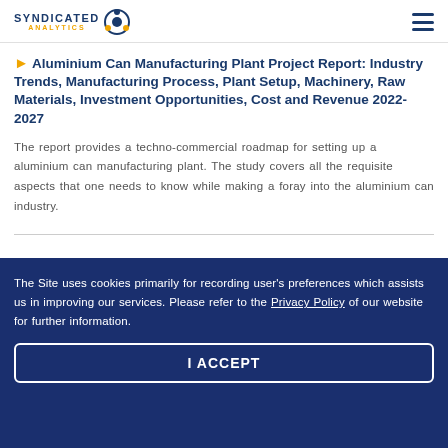SYNDICATED ANALYTICS
Aluminium Can Manufacturing Plant Project Report: Industry Trends, Manufacturing Process, Plant Setup, Machinery, Raw Materials, Investment Opportunities, Cost and Revenue 2022-2027
The report provides a techno-commercial roadmap for setting up a aluminium can manufacturing plant. The study covers all the requisite aspects that one needs to know while making a foray into the aluminium can industry.
The Site uses cookies primarily for recording user's preferences which assists us in improving our services. Please refer to the Privacy Policy of our website for further information.
I ACCEPT